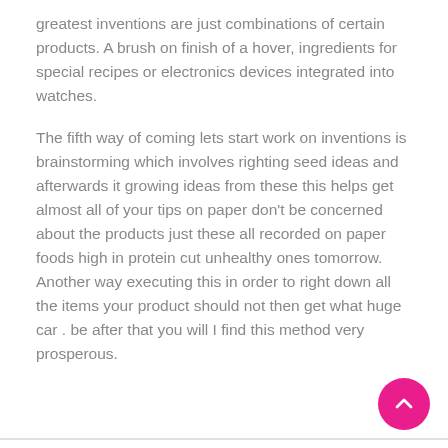greatest inventions are just combinations of certain products. A brush on finish of a hover, ingredients for special recipes or electronics devices integrated into watches.
The fifth way of coming lets start work on inventions is brainstorming which involves righting seed ideas and afterwards it growing ideas from these this helps get almost all of your tips on paper don't be concerned about the products just these all recorded on paper foods high in protein cut unhealthy ones tomorrow. Another way executing this in order to right down all the items your product should not then get what huge car . be after that you will I find this method very prosperous.